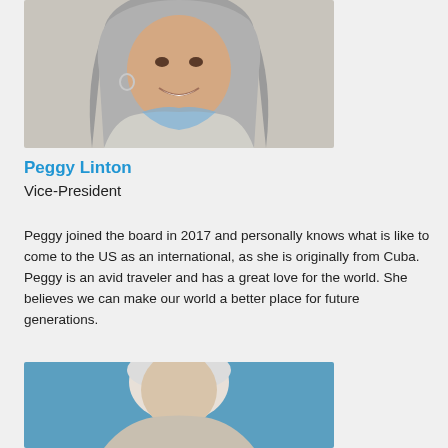[Figure (photo): Portrait photo of a smiling older woman with silver-gray hair wearing a light top and blue scarf]
Peggy Linton
Vice-President
Peggy joined the board in 2017 and personally knows what is like to come to the US as an international, as she is originally from Cuba. Peggy is an avid traveler and has a great love for the world. She believes we can make our world a better place for future generations.
[Figure (photo): Portrait photo of an older person with white hair against a blue background, partially visible]